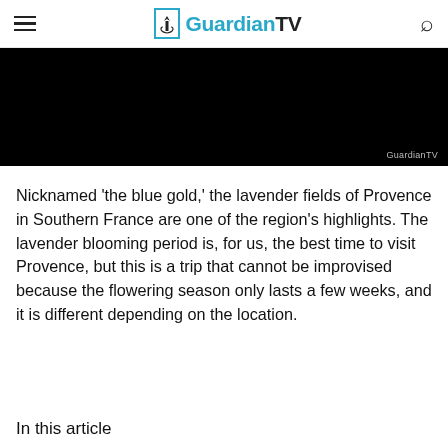GuardianTV
[Figure (screenshot): Black video placeholder with GuardianTV watermark in bottom right corner]
Nicknamed ‘the blue gold,’ the lavender fields of Provence in Southern France are one of the region’s highlights. The lavender blooming period is, for us, the best time to visit Provence, but this is a trip that cannot be improvised because the flowering season only lasts a few weeks, and it is different depending on the location.
In this article